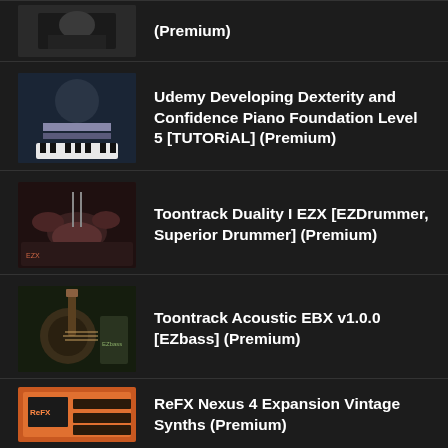(Premium)
Udemy Developing Dexterity and Confidence Piano Foundation Level 5 [TUTORiAL] (Premium)
Toontrack Duality I EZX [EZDrummer, Superior Drummer] (Premium)
Toontrack Acoustic EBX v1.0.0 [EZbass] (Premium)
ReFX Nexus 4 Expansion Vintage Synths (Premium)